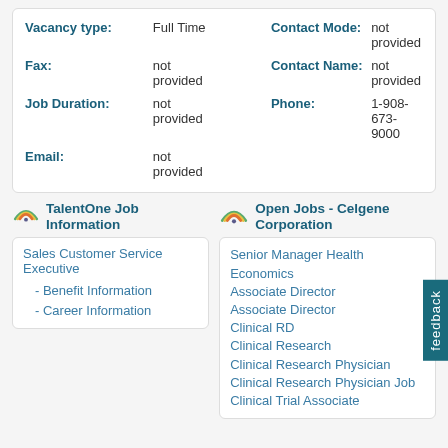| Vacancy type: | Full Time | Contact Mode: | not provided |
| Fax: | not provided | Contact Name: | not provided |
| Job Duration: | not provided | Phone: | 1-908-673-9000 |
| Email: | not provided |  |  |
TalentOne Job Information
Sales Customer Service Executive
- Benefit Information
- Career Information
Open Jobs - Celgene Corporation
Senior Manager Health Economics
Associate Director
Associate Director
Clinical RD
Clinical Research
Clinical Research Physician
Clinical Research Physician Job
Clinical Trial Associate